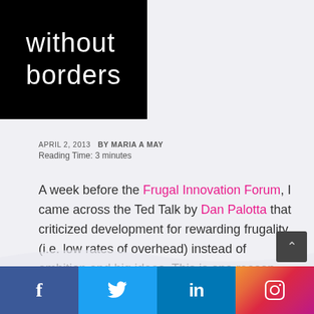without borders
APRIL 2, 2013  BY MARIA A MAY
Reading Time: 3 minutes
A week before the Frugal Innovation Forum, I came across the Ted Talk by Dan Palotta that criticized development for rewarding frugality (i.e. low rates of overhead) instead of ambition and big ideas. This is one reason why, in his opinion, progress has been slow to find solutions to address social issues.
Social media icons: Facebook, Twitter, LinkedIn, Instagram